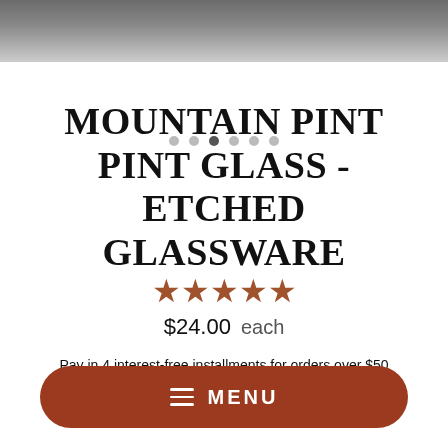[Figure (photo): Top portion of a product image showing a wooden surface, partially cut off]
MOUNTAIN PINT PINT GLASS - ETCHED GLASSWARE
★★★★★
$24.00  each
Pay in 4 interest-free installments for orders over $50 with Shop Pay  Learn more
Style
[Figure (other): Menu navigation bar button at the bottom of the screen, brown/terracotta rounded rectangle with hamburger menu icon and MENU text]